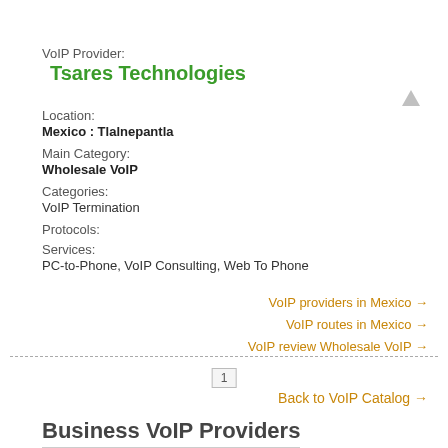VoIP Provider:
Tsares Technologies
Location:
Mexico : Tlalnepantla
Main Category:
Wholesale VoIP
Categories:
VoIP Termination
Protocols:
Services:
PC-to-Phone, VoIP Consulting, Web To Phone
VoIP providers in Mexico →
VoIP routes in Mexico →
VoIP review Wholesale VoIP →
1
Back to VoIP Catalog →
Business VoIP Providers
[Figure (logo): RingCentral logo with blue and orange text on white background with blue bar below]